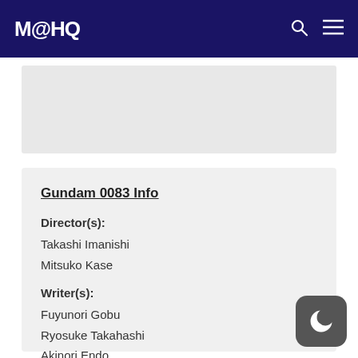MAHQ
[Figure (other): Gray advertisement banner placeholder]
Gundam 0083 Info
Director(s): Takashi Imanishi, Mitsuko Kase
Writer(s): Fuyunori Gobu, Ryosuke Takahashi, Akinori Endo